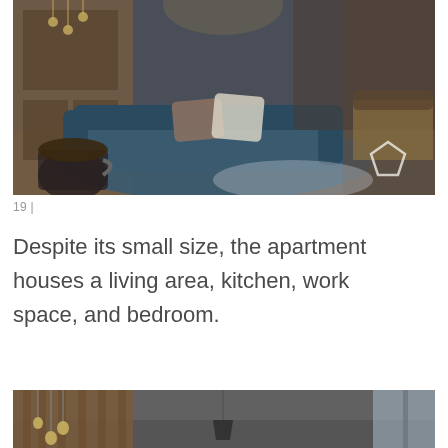[Figure (photo): Interior photo of a modern industrial-style apartment showing a dark blue sofa with cushions, a glass coffee mug in the foreground, wooden cabinetry, pendant lights, and a bedroom area with textured brick wall in the background.]
19 |
Despite its small size, the apartment houses a living area, kitchen, work space, and bedroom.
[Figure (photo): Partial interior photo showing industrial-style pendant lights hanging from a concrete ceiling with wooden wall paneling and a window on the right.]